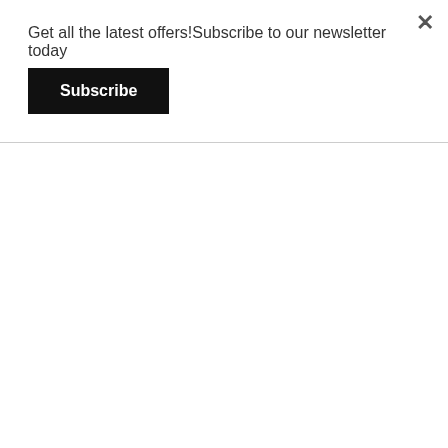Get all the latest offers!Subscribe to our newsletter today
[Figure (logo): Subscribe button — black rectangle with white bold text 'Subscribe']
[Figure (logo): Red banner with italic white text 'A HISTORY OF HARD']
[Figure (logo): KingGee logo — red crown icon followed by bold serif text 'KingGee' with tagline 'Comfort is King']
[Figure (logo): Bisley Workwear logo — dark navy blue rectangle with large yellow italic 'Bisley' text and 'WORKWEAR' below in yellow capitals]
[Figure (logo): Syzmik Workwear logo — yellow glasses/goggles icon above large bold black letters 'SYZMIK' with grey 'WORKWEAR' text below]